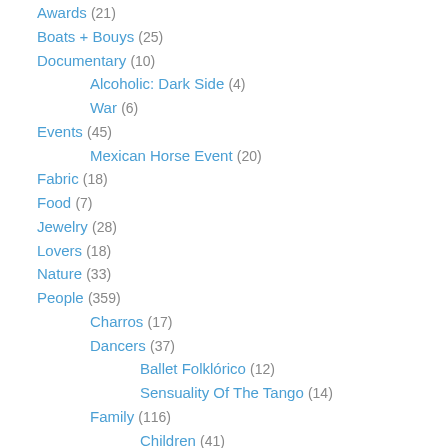Awards (21)
Boats + Bouys (25)
Documentary (10)
Alcoholic: Dark Side (4)
War (6)
Events (45)
Mexican Horse Event (20)
Fabric (18)
Food (7)
Jewelry (28)
Lovers (18)
Nature (33)
People (359)
Charros (17)
Dancers (37)
Ballet Folklórico (12)
Sensuality Of The Tango (14)
Family (116)
Children (41)
Men (43)